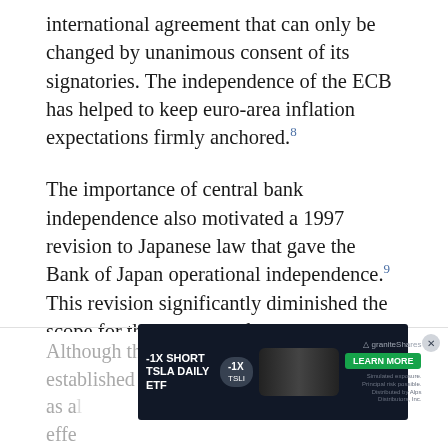international agreement that can only be changed by unanimous consent of its signatories. The independence of the ECB has helped to keep euro-area inflation expectations firmly anchored.8
The importance of central bank independence also motivated a 1997 revision to Japanese law that gave the Bank of Japan operational independence.9 This revision significantly diminished the scope for the Ministry of Finance to influence central bank decisions, thus strengthening the Bank of Japan's autonomy in setting monetary policy.
Although the Federal Reserve was established as al... its effe... gradually increasing over time. It is notable
[Figure (other): Advertisement banner for -1X Short TSLA Daily ETF (ticker: TSLI) by GraniteShares, showing a Tesla car image and a green 'Learn More' button]